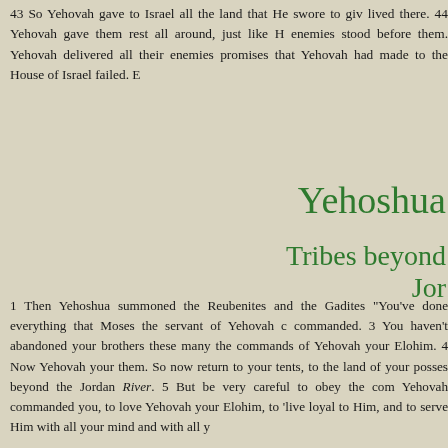43 So Yehovah gave to Israel all the land that He swore to give them, and they possessed it and lived there. 44 Yehovah gave them rest all around, just like He swore to their forefathers; not one of their enemies stood before them. Yehovah delivered all their enemies into their hands. 45 None of the good promises that Yehovah had made to the House of Israel failed. Every promise was fulfilled.
Yehoshua
Tribes beyond Jord
1 Then Yehoshua summoned the Reubenites and the Gadites and said to them: "You've done everything that Moses the servant of Yehovah commanded. 3 You haven't abandoned your brothers these many days... 5 But be very careful to obey the commandment and the law that Yehovah commanded you, to love Yehovah your Elohim, to 'live' loyal to Him, and to serve Him with all your mind and with all y
6 So Yehoshua blessed them, and sent them away, and they went to their tents. Now to the half of Manasseh Moses had given inheritance in Bashan, but to the other half Yehoshua gave among their brothers beyond the Jordan River westward. When Yehoshua sent them away to their tents, he blessed them, saying, "Return to your tents with much wealth to your tents, with very much livestock, with silver and gold and bronze and iron and with very much clothing. Divvy up the plunder of your enemies with your brothers."
9 The descendants of Reuben and the descendants of Gad an